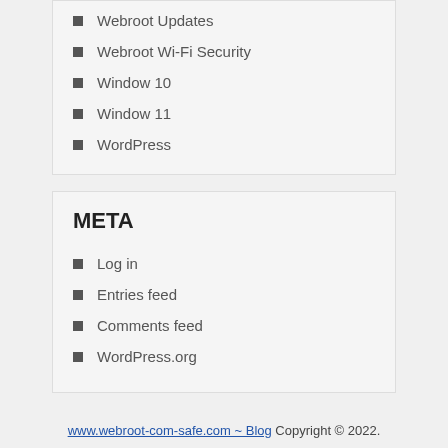Webroot Updates
Webroot Wi-Fi Security
Window 10
Window 11
WordPress
META
Log in
Entries feed
Comments feed
WordPress.org
www.webroot-com-safe.com ~ Blog Copyright © 2022.